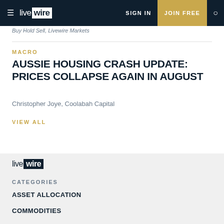live wire | SIGN IN | JOIN FREE
Buy Hold Sell, Livewire Markets
MACRO
AUSSIE HOUSING CRASH UPDATE: PRICES COLLAPSE AGAIN IN AUGUST
Christopher Joye, Coolabah Capital
VIEW ALL
[Figure (logo): Livewire logo in footer]
CATEGORIES
ASSET ALLOCATION
COMMODITIES